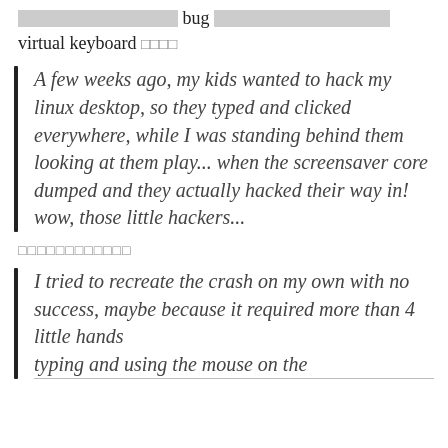[corrupted text] bug [corrupted text] virtual keyboard [corrupted chars]
A few weeks ago, my kids wanted to hack my linux desktop, so they typed and clicked everywhere, while I was standing behind them looking at them play... when the screensaver core dumped and they actually hacked their way in! wow, those little hackers...
[corrupted chars]
I tried to recreate the crash on my own with no success, maybe because it required more than 4 little hands typing and using the mouse on the